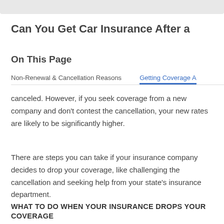Can You Get Car Insurance After a
On This Page
Non-Renewal & Cancellation Reasons	Getting Coverage A
canceled. However, if you seek coverage from a new company and don’t contest the cancellation, your new rates are likely to be significantly higher.
There are steps you can take if your insurance company decides to drop your coverage, like challenging the cancellation and seeking help from your state’s insurance department.
WHAT TO DO WHEN YOUR INSURANCE DROPS YOUR COVERAGE